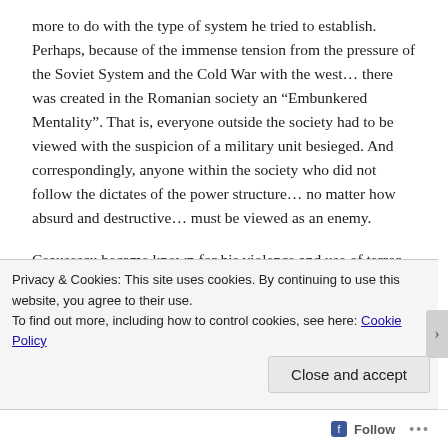more to do with the type of system he tried to establish. Perhaps, because of the immense tension from the pressure of the Soviet System and the Cold War with the west... there was created in the Romanian society an “Embunkered Mentality”. That is, everyone outside the society had to be viewed with the suspicion of a military unit besieged. And correspondingly, anyone within the society who did not follow the dictates of the power structure... no matter how absurd and destructive... must be viewed as an enemy.
Ceausescu became known for his violence and use of terror. He would dress people in bear suits and hunt them like animals, literally... dress them like bears and kill them in a
Privacy & Cookies: This site uses cookies. By continuing to use this website, you agree to their use.
To find out more, including how to control cookies, see here: Cookie Policy
Close and accept
Follow